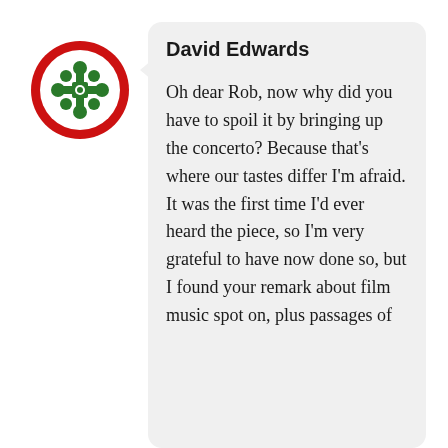[Figure (illustration): Circular avatar icon with red border ring and green geometric/floral pattern on white background]
David Edwards
Oh dear Rob, now why did you have to spoil it by bringing up the concerto? Because that's where our tastes differ I'm afraid. It was the first time I'd ever heard the piece, so I'm very grateful to have now done so, but I found your remark about film music spot on, plus passages of